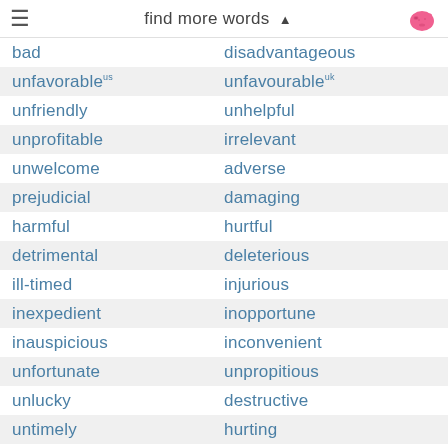find more words ▲
| Word 1 | Word 2 |
| --- | --- |
| bad | disadvantageous |
| unfavorable US | unfavourable UK |
| unfriendly | unhelpful |
| unprofitable | irrelevant |
| unwelcome | adverse |
| prejudicial | damaging |
| harmful | hurtful |
| detrimental | deleterious |
| ill-timed | injurious |
| inexpedient | inopportune |
| inauspicious | inconvenient |
| unfortunate | unpropitious |
| unlucky | destructive |
| untimely | hurting |
| useless | worthless |